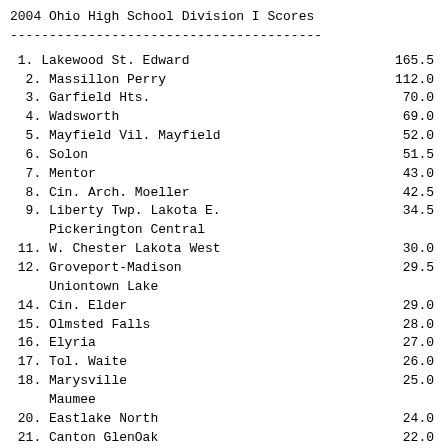2004 Ohio High School Division I Scores
----------------------------------------
1. Lakewood St. Edward   165.5
2. Massillon Perry   112.0
3. Garfield Hts.   70.0
4. Wadsworth   69.0
5. Mayfield Vil. Mayfield   52.0
6. Solon   51.5
7. Mentor   43.0
8. Cin. Arch. Moeller   42.5
9. Liberty Twp. Lakota E.   34.5
Pickerington Central
11. W. Chester Lakota West   30.0
12. Groveport-Madison   29.5
Uniontown Lake
14. Cin. Elder   29.0
15. Olmsted Falls   28.0
16. Elyria   27.0
17. Tol. Waite   26.0
18. Marysville   25.0
Maumee
20. Eastlake North   24.0
21. Canton GlenOak   22.0
22. Gahanna Lincoln   21.5
23. Akron Firestone   20.0
Tol. Central Cath.
25. Berea   19.0
Cle. Collinwood
Pickerington North
28. Macedon... Macedonia   18.0